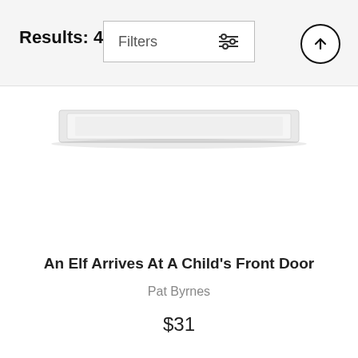Results: 40
Filters
[Figure (photo): Partial view of a product (appears to be a picture frame or print) - cropped at top of screen]
An Elf Arrives At A Child's Front Door
Pat Byrnes
$31
[Figure (photo): White t-shirt with a cartoon/illustration printed on it showing a scene with 'DEC. 26' text and figures, partially cropped at bottom of page]